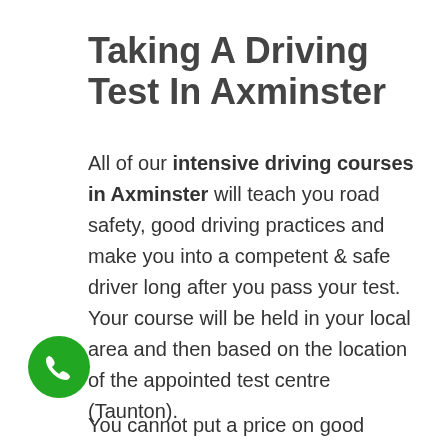Taking A Driving Test In Axminster
All of our intensive driving courses in Axminster will teach you road safety, good driving practices and make you into a competent & safe driver long after you pass your test. Your course will be held in your local area and then based on the location of the appointed test centre (Taunton).
You cannot put a price on good